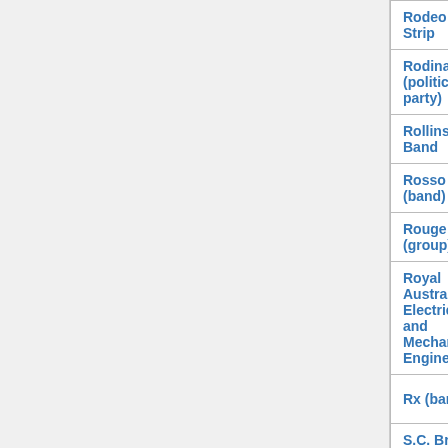| Name | Type | URL |
| --- | --- | --- |
| Rodeo Strip | magazine | http://www.rod... |
| Rodina (political party) | political party | http://www.rod... |
| Rollins Band | musical group | http://21361.co... |
| Rosso (band) | musical group | http://www.roc... |
| Rouge (group) | musical group | http://www.gru... |
| Royal Australian Electrical and Mechanical Engineers | administrative corps | https://www.ar... electrical-and-... |
| Rx (band) | musical group | http://www.inv... |
| S.C. Braga B | association football club | http://www.scb... |
| S.L. Benfica B | association football club | https://www.slb... |
| SIC Comédia | broadcast network | http://sicprogra... headline=54&... |